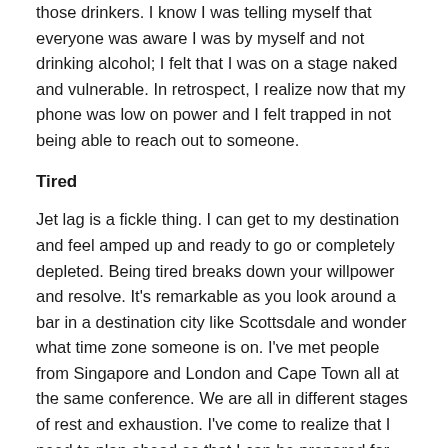those drinkers. I know I was telling myself that everyone was aware I was by myself and not drinking alcohol; I felt that I was on a stage naked and vulnerable. In retrospect, I realize now that my phone was low on power and I felt trapped in not being able to reach out to someone.
Tired
Jet lag is a fickle thing. I can get to my destination and feel amped up and ready to go or completely depleted. Being tired breaks down your willpower and resolve. It's remarkable as you look around a bar in a destination city like Scottsdale and wonder what time zone someone is on. I've met people from Singapore and London and Cape Town all at the same conference. We are all in different stages of rest and exhaustion. I've come to realize that I need to plan ahead so that I can be prepared for my state of tiredness when arriving in a new city so I can all...